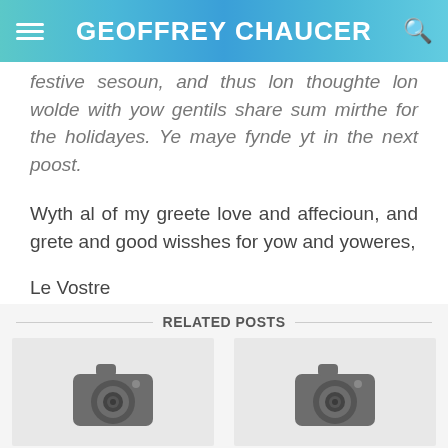GEOFFREY CHAUCER
festive sesoun, and thus lon thoughte lon wolde with yow gentils share sum mirthe for the holidayes. Ye maye fynde yt in the next poost.
Wyth al of my greete love and affecioun, and grete and good wisshes for yow and yoweres,
Le Vostre
GC
RELATED POSTS
[Figure (photo): Placeholder image with camera icon (left post thumbnail)]
[Figure (photo): Placeholder image with camera icon (right post thumbnail)]